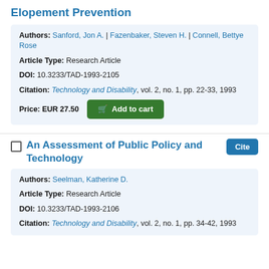Elopement Prevention
Authors: Sanford, Jon A. | Fazenbaker, Steven H. | Connell, Bettye Rose
Article Type: Research Article
DOI: 10.3233/TAD-1993-2105
Citation: Technology and Disability, vol. 2, no. 1, pp. 22-33, 1993
Price: EUR 27.50  Add to cart
An Assessment of Public Policy and Technology
Authors: Seelman, Katherine D.
Article Type: Research Article
DOI: 10.3233/TAD-1993-2106
Citation: Technology and Disability, vol. 2, no. 1, pp. 34-42, 1993